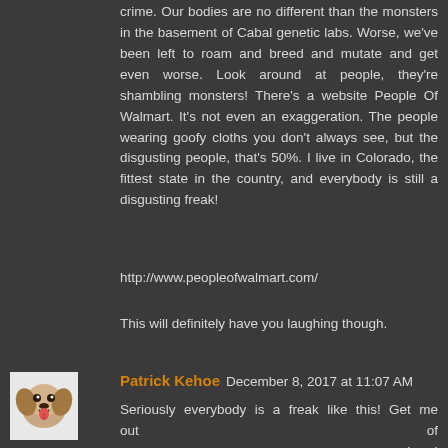crime. Our bodies are no different than the monsters in the basement of Cabal genetic labs. Worse, we've been left to roam and breed and mutate and get even worse. Look around at people, they're shambling monsters! There's a website People Of Walmart. It's not even an exaggeration. The people wearing goofy cloths you don't always see, but the disgusting people, that's 50%. I live in Colorado, the fittest state in the country, and everybody is still a disgusting freak!
http://www.peopleofwalmart.com/
This will definitely have you laughing though.
Patrick Kehoe December 8, 2017 at 11:07 AM
Seriously everybody is a freak like this! Get me out of here! http://www.peopleofwalmart.com/pac-mentality/